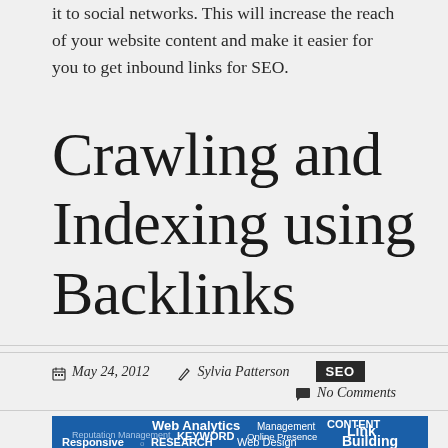it to social networks. This will increase the reach of your website content and make it easier for you to get inbound links for SEO.
Crawling and Indexing using Backlinks
May 24, 2012   Sylvia Patterson   SEO   No Comments
[Figure (illustration): Word cloud / tag cloud image with terms: Web Analytics, Management, CONTENT, Reputation Management, KEYWORD, Online Presence, Link, Responsive, RESEARCH, Web Design, Building]